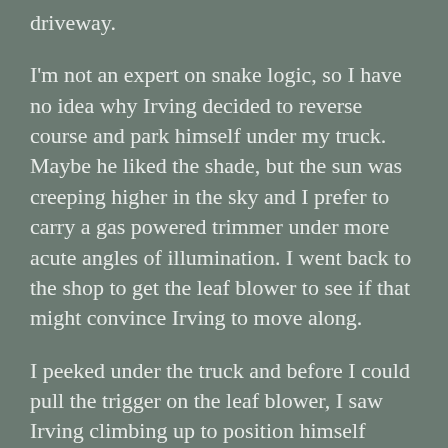driveway.
I'm not an expert on snake logic, so I have no idea why Irving decided to reverse course and park himself under my truck. Maybe he liked the shade, but the sun was creeping higher in the sky and I prefer to carry a gas powered trimmer under more acute angles of illumination. I went back to the shop to get the leaf blower to see if that might convince Irving to move along.
I peeked under the truck and before I could pull the trigger on the leaf blower, I saw Irving climbing up to position himself somewhere on top of the axle. The first beads of sweat began to form under my hat.
We'll pause right here to have a word with a few of